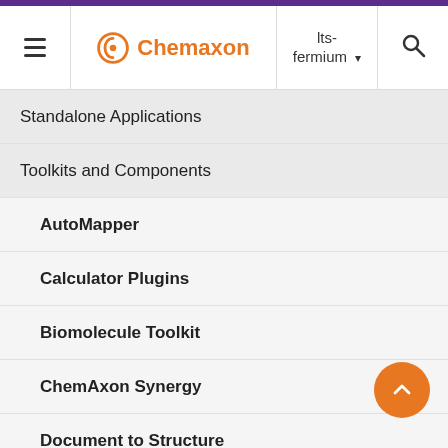Chemaxon | lts-fermium
Standalone Applications
Toolkits and Components
AutoMapper
Calculator Plugins
Biomolecule Toolkit
ChemAxon Synergy
Document to Structure
JChem Base
JChem Choral
No chang Jan 30th 20 JCh Ora Car